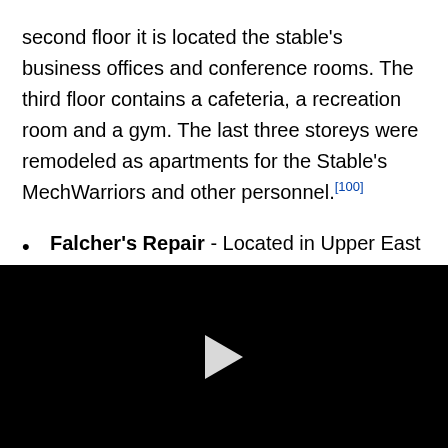second floor it is located the stable's business offices and conference rooms. The third floor contains a cafeteria, a recreation room and a gym. The last three storeys were remodeled as apartments for the Stable's MechWarriors and other personnel.[100]
Falcher's Repair - Located in Upper East Side of Silesia, between Steed Avenue and Herd Street,[8] this shop is managed by one of Solaris' leading techs. Known to be able to work miracles repairing, modifying and jury [continues...]
[Figure (other): Black video player area with a white play button triangle in the center]